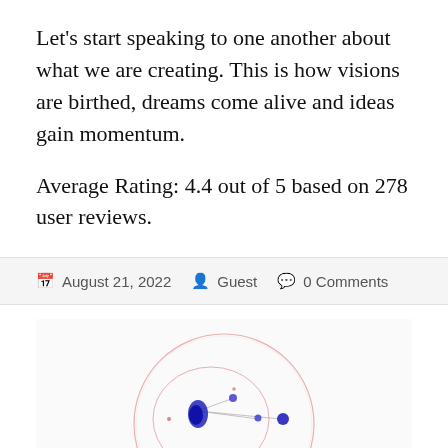Let's start speaking to one another about what we are creating. This is how visions are birthed, dreams come alive and ideas gain momentum.
Average Rating: 4.4 out of 5 based on 278 user reviews.
August 21, 2022  Guest  0 Comments
[Figure (photo): Scientific or microscopy image showing blue-stained spots/particles on a light pink circular background, resembling a cell or petri dish view.]